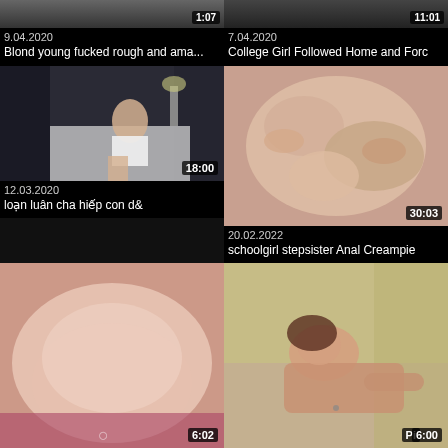[Figure (screenshot): Video thumbnail top-left partial]
9.04.2020
Blond young fucked rough and ama...
[Figure (screenshot): Video thumbnail top-right partial]
7.04.2020
College Girl Followed Home and Forc
[Figure (photo): Woman sitting on bed, white top, duration 18:00]
12.03.2020
loạn luân cha hiếp con d&
[Figure (photo): Explicit content, duration 30:03]
20.02.2022
schoolgirl stepsister Anal Creampie
[Figure (photo): Blurred explicit thumbnail, duration 6:02]
25.02.2022
intense sex with beautiful assed an
[Figure (photo): Woman on bed, duration 6:00]
19.02.2022
Teen Natasha Nice Picked Up By Stra